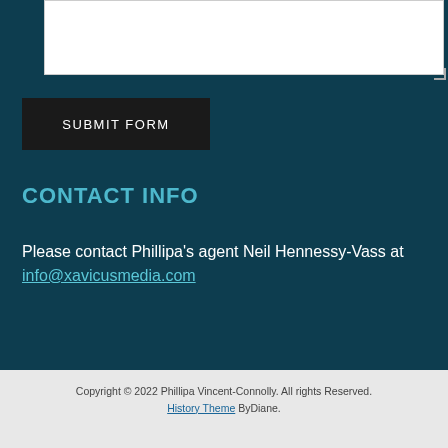[Figure (screenshot): White textarea input box with resize handle in bottom-right corner]
SUBMIT FORM
CONTACT INFO
Please contact Phillipa's agent Neil Hennessy-Vass at info@xavicusmedia.com
Copyright © 2022 Phillipa Vincent-Connolly. All rights reserved. History Theme ByDiane.